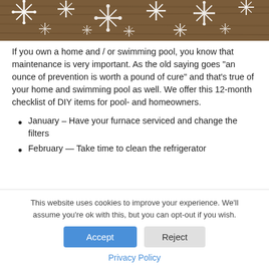[Figure (photo): Winter banner image showing white snowflakes on a wooden background]
If you own a home and / or swimming pool, you know that maintenance is very important. As the old saying goes “an ounce of prevention is worth a pound of cure” and that’s true of your home and swimming pool as well. We offer this 12-month checklist of DIY items for pool- and homeowners.
January – Have your furnace serviced and change the filters
February — Take time to clean the refrigerator
This website uses cookies to improve your experience. We'll assume you're ok with this, but you can opt-out if you wish.
Accept | Reject
Privacy Policy